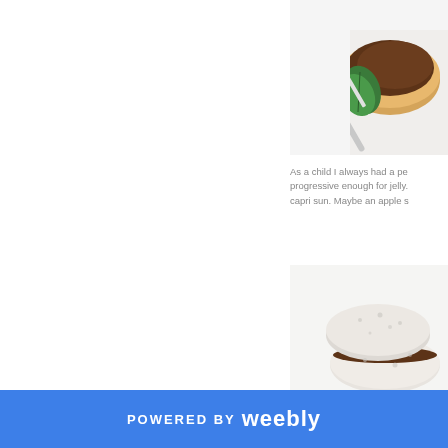[Figure (photo): Close-up of bread with chocolate spread (Nutella-like) and a mint leaf, with a spreading knife on a white background]
As a child I always had a pe progressive enough for jelly. capri sun. Maybe an apple s
[Figure (photo): Two triangular halves of a white bread sandwich with chocolate/peanut butter filling, stacked on white background]
POWERED BY weebly